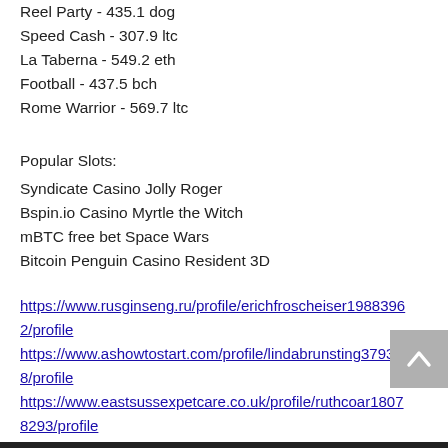Reel Party - 435.1 dog
Speed Cash - 307.9 ltc
La Taberna - 549.2 eth
Football - 437.5 bch
Rome Warrior - 569.7 ltc
Popular Slots:
Syndicate Casino Jolly Roger
Bspin.io Casino Myrtle the Witch
mBTC free bet Space Wars
Bitcoin Penguin Casino Resident 3D
https://www.rusginseng.ru/profile/erichfroscheiser19883962/profile https://www.ashowtostart.com/profile/lindabrunsting379328/profile https://www.eastsussexpetcare.co.uk/profile/ruthcoar18078293/profile https://www.vignolesperez.com/profile/elizanellum2904876/profile